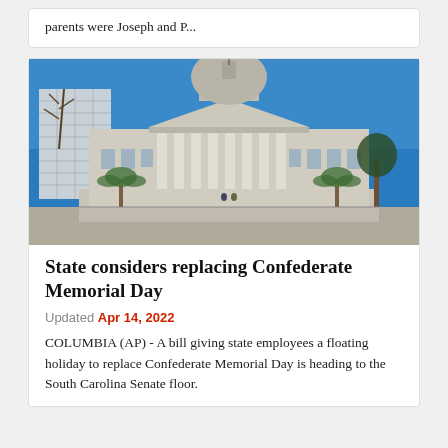parents were Joseph and P...
[Figure (photo): Photograph of the South Carolina State Capitol building with a blue sky background, palm trees and a modern office building to the left]
State considers replacing Confederate Memorial Day
Updated Apr 14, 2022
COLUMBIA (AP) - A bill giving state employees a floating holiday to replace Confederate Memorial Day is heading to the South Carolina Senate floor.